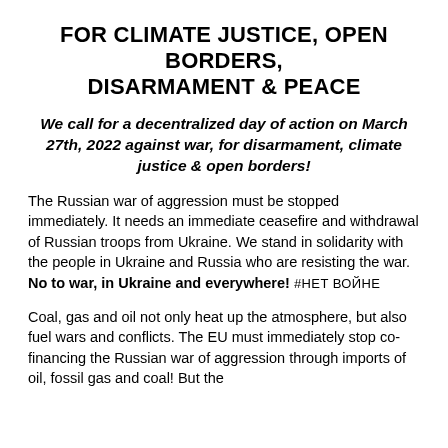FOR CLIMATE JUSTICE, OPEN BORDERS, DISARMAMENT & PEACE
We call for a decentralized day of action on March 27th, 2022 against war, for disarmament, climate justice & open borders!
The Russian war of aggression must be stopped immediately. It needs an immediate ceasefire and withdrawal of Russian troops from Ukraine. We stand in solidarity with the people in Ukraine and Russia who are resisting the war. No to war, in Ukraine and everywhere! #нет войне
Coal, gas and oil not only heat up the atmosphere, but also fuel wars and conflicts. The EU must immediately stop co-financing the Russian war of aggression through imports of oil, fossil gas and coal! But the